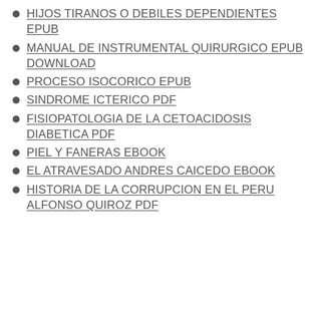HIJOS TIRANOS O DEBILES DEPENDIENTES EPUB
MANUAL DE INSTRUMENTAL QUIRURGICO EPUB DOWNLOAD
PROCESO ISOCORICO EPUB
SINDROME ICTERICO PDF
FISIOPATOLOGIA DE LA CETOACIDOSIS DIABETICA PDF
PIEL Y FANERAS EBOOK
EL ATRAVESADO ANDRES CAICEDO EBOOK
HISTORIA DE LA CORRUPCION EN EL PERU ALFONSO QUIROZ PDF